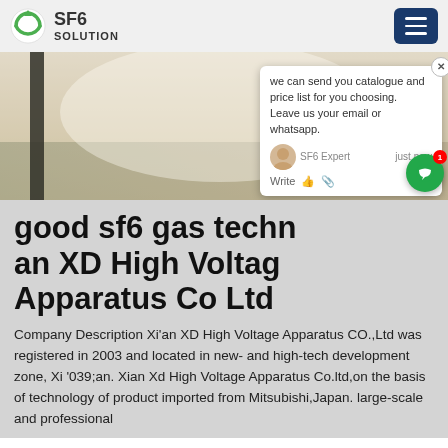SF6 SOLUTION
[Figure (photo): Outdoor industrial/vehicle scene, blurry/foggy background with trucks, and orange text reading 'SF6china' or similar]
good sf6 gas techn... an XD High Voltage Apparatus Co Ltd
Company Description Xi’039;an XD High Voltage Apparatus CO.,Ltd was registered in 2003 and located in new- and high-tech development zone, Xi’039;an. Xian Xd High Voltage Apparatus Co.ltd,on the basis of technology of product imported from Mitsubishi,Japan. large-scale and professional